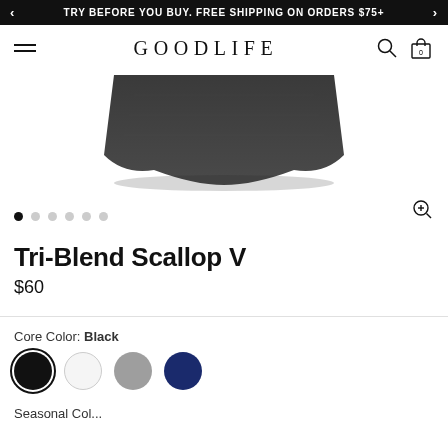TRY BEFORE YOU BUY. FREE SHIPPING ON ORDERS $75+
[Figure (logo): GOODLIFE brand logo with hamburger menu, search icon, and shopping bag icon with 0 items]
[Figure (photo): Bottom portion of a dark charcoal/black Tri-Blend Scallop V t-shirt showing the scalloped hem detail]
Tri-Blend Scallop V
$60
Core Color: Black
Seasonal Col...